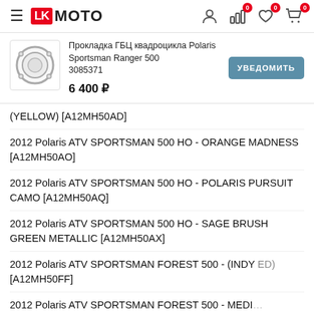LK MOTO
[Figure (screenshot): Product card showing gasket image with name 'Прокладка ГБЦ квадроцикла Polaris Sportsman Ranger 500 3085371', price '6 400 ₽', and УВЕДОМИТЬ button]
(YELLOW) [A12MH50AD]
2012 Polaris ATV SPORTSMAN 500 HO - ORANGE MADNESS [A12MH50AO]
2012 Polaris ATV SPORTSMAN 500 HO - POLARIS PURSUIT CAMO [A12MH50AQ]
2012 Polaris ATV SPORTSMAN 500 HO - SAGE BRUSH GREEN METALLIC [A12MH50AX]
2012 Polaris ATV SPORTSMAN FOREST 500 - (INDY ED) [A12MH50FF]
2012 Polaris ATV SPORTSMAN FOREST 500 - MEDI (YELLOW) [A12MH50FY]